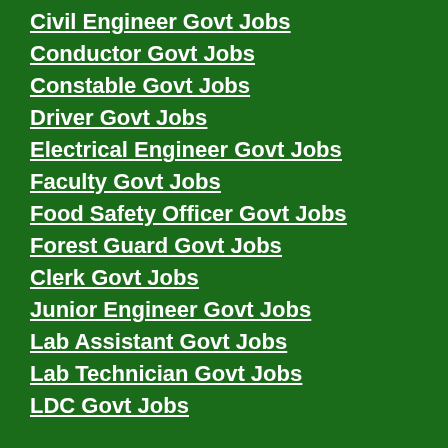Civil Engineer Govt Jobs
Conductor Govt Jobs
Constable Govt Jobs
Driver Govt Jobs
Electrical Engineer Govt Jobs
Faculty Govt Jobs
Food Safety Officer Govt Jobs
Forest Guard Govt Jobs
Clerk Govt Jobs
Junior Engineer Govt Jobs
Lab Assistant Govt Jobs
Lab Technician Govt Jobs
LDC Govt Jobs